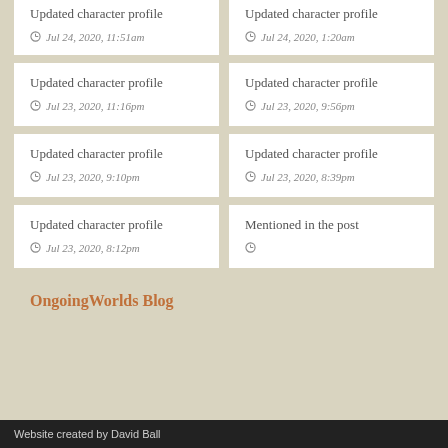Updated character profile
Jul 24, 2020, 11:51am
Updated character profile
Jul 24, 2020, 1:20am
Updated character profile
Jul 23, 2020, 11:16pm
Updated character profile
Jul 23, 2020, 9:56pm
Updated character profile
Jul 23, 2020, 9:10pm
Updated character profile
Jul 23, 2020, 8:39pm
Updated character profile
Jul 23, 2020, 8:12pm
Mentioned in the post
OngoingWorlds Blog
Website created by David Ball